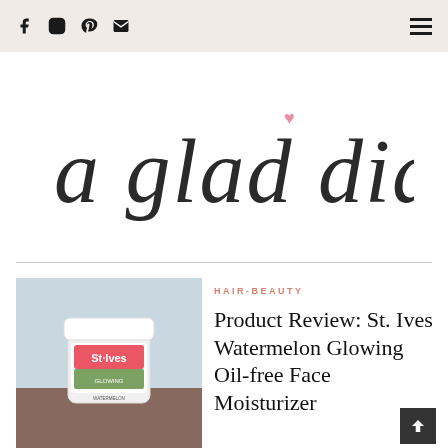Social icons: Facebook, Instagram, Pinterest, Email | Hamburger menu
a glad diary
[Figure (photo): St. Ives Watermelon Glowing Oil-free Face Moisturizer product jar on a table]
HAIR-BEAUTY
Product Review: St. Ives Watermelon Glowing Oil-free Face Moisturizer